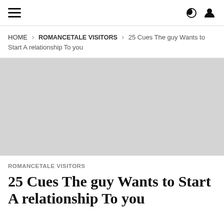≡  🌙 👤
HOME > ROMANCETALE VISITORS > 25 Cues The guy Wants to Start A relationship To you
[Figure (photo): Gray placeholder image area for article header image]
ROMANCETALE VISITORS
25 Cues The guy Wants to Start A relationship To you